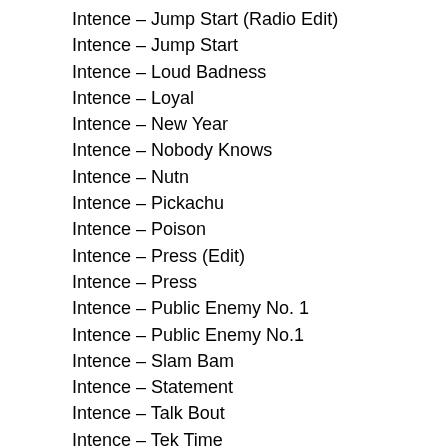Intence – Jump Start (Radio Edit)
Intence – Jump Start
Intence – Loud Badness
Intence – Loyal
Intence – New Year
Intence – Nobody Knows
Intence – Nutn
Intence – Pickachu
Intence – Poison
Intence – Press (Edit)
Intence – Press
Intence – Public Enemy No. 1
Intence – Public Enemy No.1
Intence – Slam Bam
Intence – Statement
Intence – Talk Bout
Intence – Tek Time
Intence – Turn Off
Intence – Understanding